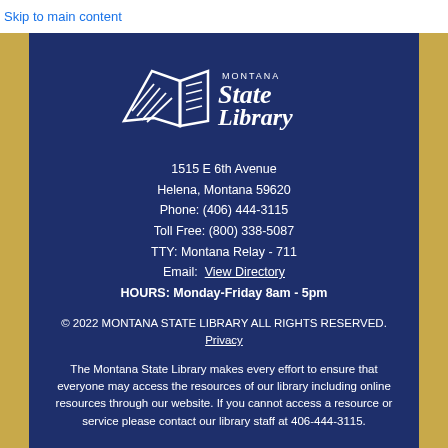Skip to main content
[Figure (logo): Montana State Library logo with stylized open book icon and text 'Montana State Library']
1515 E 6th Avenue
Helena, Montana 59620
Phone: (406) 444-3115
Toll Free: (800) 338-5087
TTY: Montana Relay - 711
Email: View Directory
HOURS: Monday-Friday 8am - 5pm
© 2022 MONTANA STATE LIBRARY ALL RIGHTS RESERVED. Privacy
The Montana State Library makes every effort to ensure that everyone may access the resources of our library including online resources through our website. If you cannot access a resource or service please contact our library staff at 406-444-3115.